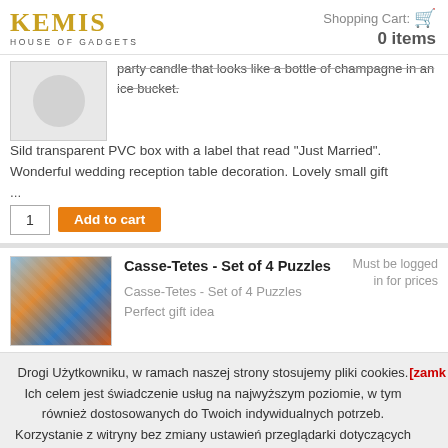KEMIS HOUSE OF GADGETS  Shopping Cart: 0 items
party candle that looks like a bottle of champagne in an ice bucket. Sild transparent PVC box with a label that read "Just Married". Wonderful wedding reception table decoration. Lovely small gift ...
1  Add to cart
Casse-Tetes - Set of 4 Puzzles  Must be logged in for prices
Casse-Tetes - Set of 4 Puzzles Perfect gift idea
Drogi Użytkowniku, w ramach naszej strony stosujemy pliki cookies. Ich celem jest świadczenie usług na najwyższym poziomie, w tym również dostosowanych do Twoich indywidualnych potrzeb. Korzystanie z witryny bez zmiany ustawień przeglądarki dotyczących cookies oznacza, że będą one umieszczane w Twoim urządzeniu. W każdej chwili możesz dokonać zmiany ustawień przeglądarki dotyczących cookies.
[zamk